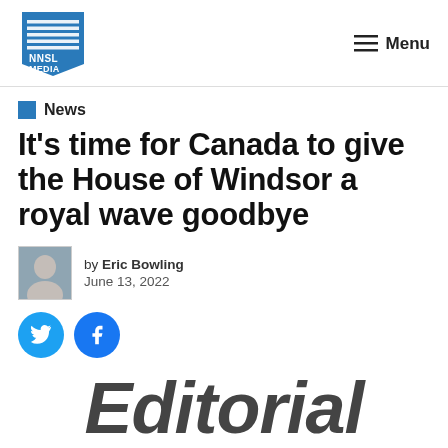NNSL MEDIA | Menu
News
It’s time for Canada to give the House of Windsor a royal wave goodbye
by Eric Bowling
June 13, 2022
[Figure (illustration): Author avatar photo of Eric Bowling, small square thumbnail]
[Figure (logo): NNSL Media logo - blue shield/banner shape with white horizontal lines and NNSL MEDIA text]
Editorial